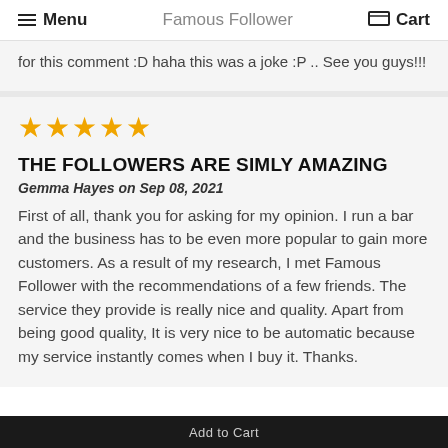Menu | Famous Follower | Cart
for this comment :D haha this was a joke :P .. See you guys!!!
[Figure (other): Five gold star rating]
THE FOLLOWERS ARE SIMLY AMAZING
Gemma Hayes on Sep 08, 2021
First of all, thank you for asking for my opinion. I run a bar and the business has to be even more popular to gain more customers. As a result of my research, I met Famous Follower with the recommendations of a few friends. The service they provide is really nice and quality. Apart from being good quality, It is very nice to be automatic because my service instantly comes when I buy it. Thanks.
Add to Cart